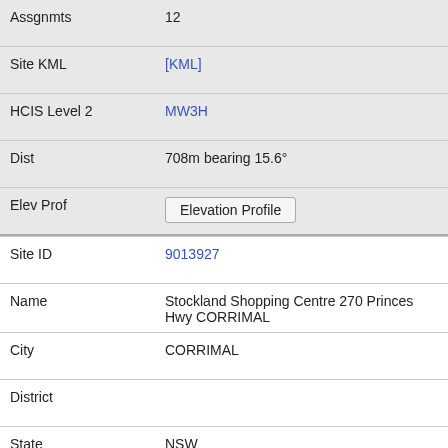| Field | Value |
| --- | --- |
| Assgnmts | 12 |
| Site KML | [KML] |
| HCIS Level 2 | MW3H |
| Dist | 708m bearing 15.6° |
| Elev Prof | Elevation Profile |
| Site ID | 9013927 |
| Name | Stockland Shopping Centre 270 Princes Hwy CORRIMAL |
| City | CORRIMAL |
| District |  |
| State | NSW |
| Postcode | 2518 |
| Assgnmts |  |
| Site KML | [KML] |
| HCIS Level 2 | MW3H |
| Dist | 761m bearing 279.3° |
| Elev Prof | Elevation Profile |